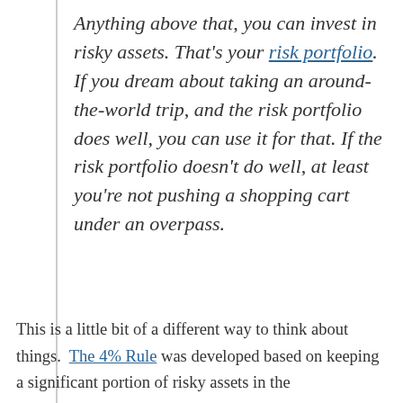Anything above that, you can invest in risky assets. That's your risk portfolio. If you dream about taking an around-the-world trip, and the risk portfolio does well, you can use it for that. If the risk portfolio doesn't do well, at least you're not pushing a shopping cart under an overpass.
This is a little bit of a different way to think about things. The 4% Rule was developed based on keeping a significant portion of risky assets in the